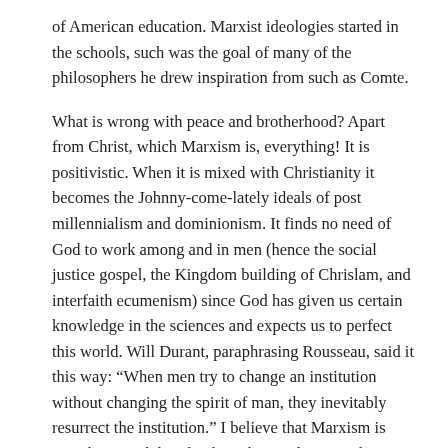of American education. Marxist ideologies started in the schools, such was the goal of many of the philosophers he drew inspiration from such as Comte.
What is wrong with peace and brotherhood? Apart from Christ, which Marxism is, everything! It is positivistic. When it is mixed with Christianity it becomes the Johnny-come-lately ideals of post millennialism and dominionism. It finds no need of God to work among and in men (hence the social justice gospel, the Kingdom building of Chrislam, and interfaith ecumenism) since God has given us certain knowledge in the sciences and expects us to perfect this world. Will Durant, paraphrasing Rousseau, said it this way: “When men try to change an institution without changing the spirit of man, they inevitably resurrect the institution.” I believe that Marxism is antiChrist, and dissolved in Christendom it is that Civic (Civil) Religion you speak of.
Greetings 🙂